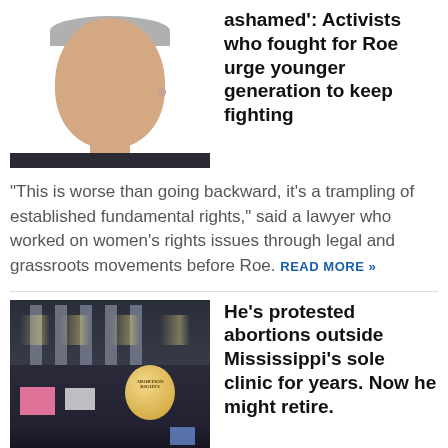[Figure (photo): Headshot of a middle-aged woman with light gray/blonde hair, smiling, wearing a dark top, against a light background.]
ashamed': Activists who fought for Roe urge younger generation to keep fighting
“This is worse than going backward, it’s a trampling of established fundamental rights,” said a lawyer who worked on women’s rights issues through legal and grassroots movements before Roe. READ MORE »
[Figure (photo): Night photo of a crowd of protesters outside a large illuminated building (likely the Supreme Court), holding signs and a glowing balloon that reads 'Abortion Rights'.]
He's protested abortions outside Mississippi's sole clinic for years. Now he might retire.
“I’ll probably get to fish,” said David Lane, an anti-abortion rights activist who demonstrates regularly